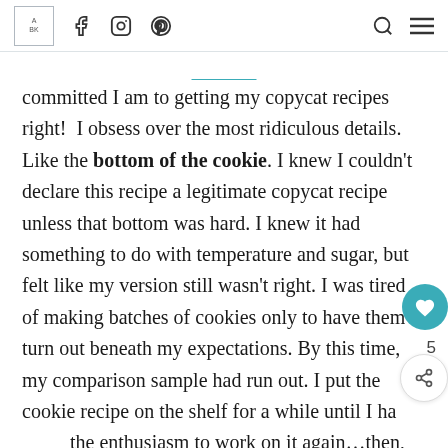A BK [logo] f [facebook] [instagram] p [pinterest] [search] [menu]
committed I am to getting my copycat recipes right!  I obsess over the most ridiculous details. Like the bottom of the cookie. I knew I couldn't declare this recipe a legitimate copycat recipe unless that bottom was hard. I knew it had something to do with temperature and sugar, but felt like my version still wasn't right. I was tired of making batches of cookies only to have them turn out beneath my expectations. By this time, my comparison sample had run out. I put the cookie recipe on the shelf for a while until I had the enthusiasm to work on it again…then, this happened. I fired up the oven and decided I'd give it another try. I pulled two more bags of Reese's Peanut